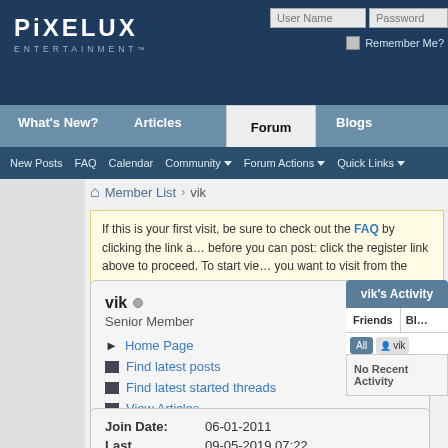[Figure (screenshot): Pixelux Entertainment forum website header with logo, login fields, navigation tabs (What's New?, Articles, Forum, Blogs), and sub-navigation bar]
Member List > vik
If this is your first visit, be sure to check out the FAQ by clicking the link above before you can post: click the register link above to proceed. To start viewing you want to visit from the selection below.
vik
Senior Member
Home Page
Find latest posts
Find latest started threads
View Articles
View Blog Entries
vik's Activity
Friends
All  vik  Frien...
No Recent Activity
| Field | Value |
| --- | --- |
| Join Date: | 06-01-2011 |
| Last | 09-05-2019 07:22 |